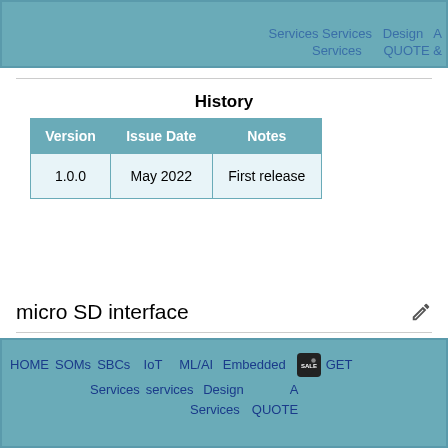Services Services Design A Services QUOTE
History
| Version | Issue Date | Notes |
| --- | --- | --- |
| 1.0.0 | May 2022 | First release |
micro SD interface
HOME SOMs SBCs IoT ML/AI Embedded Design Services services Design Services GET A QUOTE